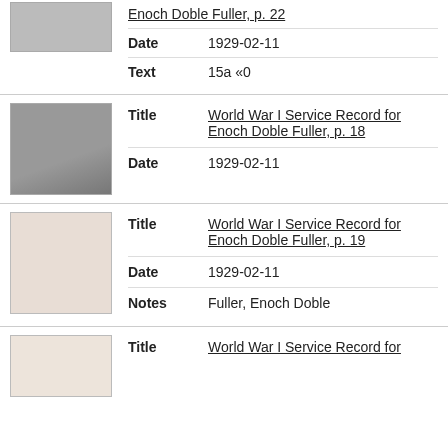Enoch Doble Fuller, p. 22
Date: 1929-02-11
Text: 15a «0
[Figure (photo): Thumbnail image of a historical document page, dark/grey tones]
Title: World War I Service Record for Enoch Doble Fuller, p. 18
Date: 1929-02-11
[Figure (photo): Thumbnail image of a historical document page, light beige/pinkish tone]
Title: World War I Service Record for Enoch Doble Fuller, p. 19
Date: 1929-02-11
Notes: Fuller, Enoch Doble
[Figure (photo): Thumbnail image of a historical document page, light beige tone]
Title: World War I Service Record for